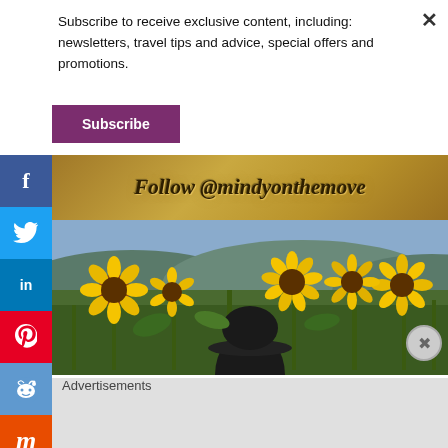Subscribe to receive exclusive content, including: newsletters, travel tips and advice, special offers and promotions.
Subscribe
[Figure (screenshot): Social media sidebar with Facebook, Twitter, LinkedIn, Pinterest, Reddit, Mix, YouTube, and Email icons in colored boxes]
[Figure (illustration): Golden/tan banner with italic text 'Follow @mindyonthemove']
[Figure (photo): Photo of a person in a hat seen from behind standing in a sunflower field]
Advertisements